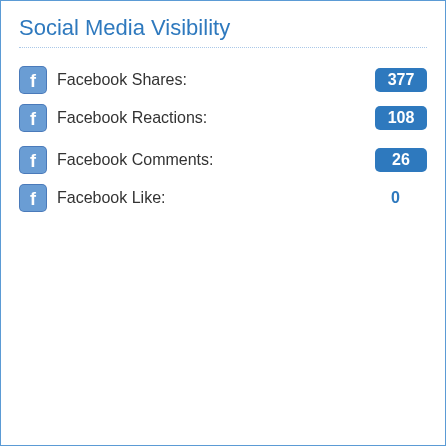Social Media Visibility
Facebook Shares: 377
Facebook Reactions: 108
Facebook Comments: 26
Facebook Like: 0